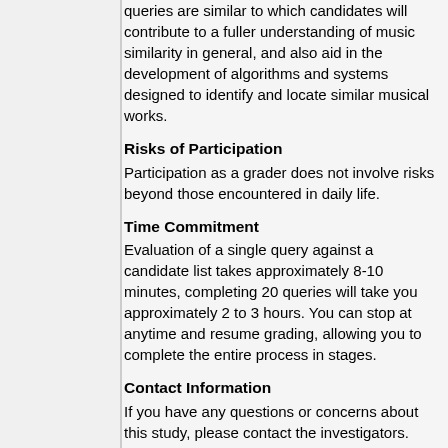queries are similar to which candidates will contribute to a fuller understanding of music similarity in general, and also aid in the development of algorithms and systems designed to identify and locate similar musical works.
Risks of Participation
Participation as a grader does not involve risks beyond those encountered in daily life.
Time Commitment
Evaluation of a single query against a candidate list takes approximately 8-10 minutes, completing 20 queries will take you approximately 2 to 3 hours. You can stop at anytime and resume grading, allowing you to complete the entire process in stages.
Contact Information
If you have any questions or concerns about this study, please contact the investigators. Project contact address: c/o Dr. J. Stephen Downie, Graduate School of Library and Information Science, 501 E. Daniel St., Champaign, IL 61820; phone: 217-649-3839,